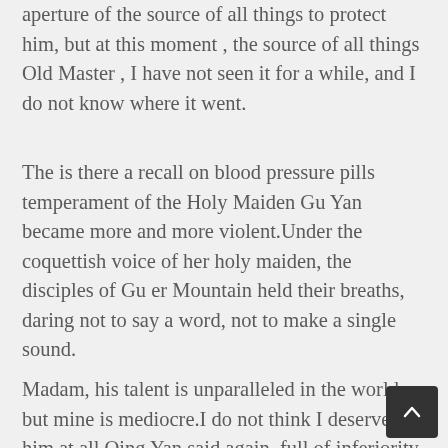aperture of the source of all things to protect him, but at this moment , the source of all things Old Master , I have not seen it for a while, and I do not know where it went.
The is there a recall on blood pressure pills temperament of the Holy Maiden Gu Yan became more and more violent.Under the coquettish voice of her holy maiden, the disciples of Gu er Mountain held their breaths, daring not to say a word, not to make a single sound.
Madam, his talent is unparalleled in the world, but mine is mediocre.I do not think I deserve him at all Qing Yan said again, full of inferiority.
Then he turned his head, looked at Gongsun Taiyin, and said, What